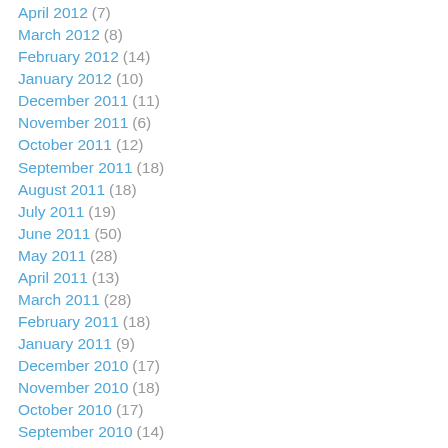April 2012 (7)
March 2012 (8)
February 2012 (14)
January 2012 (10)
December 2011 (11)
November 2011 (6)
October 2011 (12)
September 2011 (18)
August 2011 (18)
July 2011 (19)
June 2011 (50)
May 2011 (28)
April 2011 (13)
March 2011 (28)
February 2011 (18)
January 2011 (9)
December 2010 (17)
November 2010 (18)
October 2010 (17)
September 2010 (14)